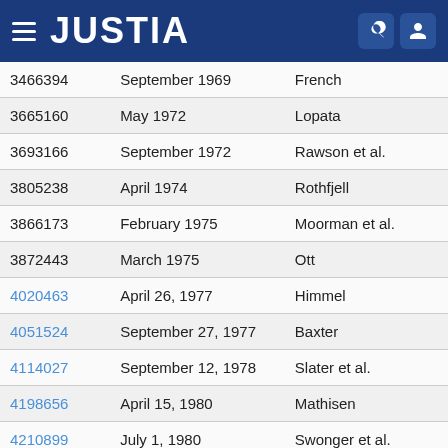JUSTIA
| 3466394 | September 1969 | French |
| 3665160 | May 1972 | Lopata |
| 3693166 | September 1972 | Rawson et al. |
| 3805238 | April 1974 | Rothfjell |
| 3866173 | February 1975 | Moorman et al. |
| 3872443 | March 1975 | Ott |
| 4020463 | April 26, 1977 | Himmel |
| 4051524 | September 27, 1977 | Baxter |
| 4114027 | September 12, 1978 | Slater et al. |
| 4198656 | April 15, 1980 | Mathisen |
| 4210899 | July 1, 1980 | Swonger et al. |
| 4237483 | December 2, 1980 | Clever |